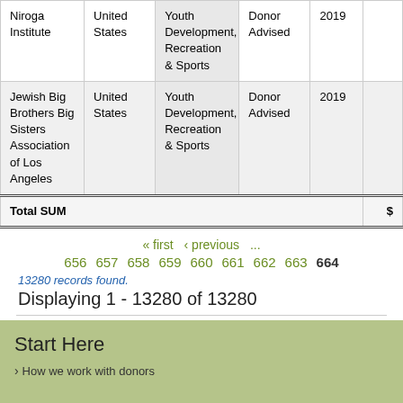| Organization | Country | Category | Grant Type | Year | Amount |
| --- | --- | --- | --- | --- | --- |
| Niroga Institute | United States | Youth Development, Recreation & Sports | Donor Advised | 2019 |  |
| Jewish Big Brothers Big Sisters Association of Los Angeles | United States | Youth Development, Recreation & Sports | Donor Advised | 2019 |  |
| Total SUM |  |  |  |  | $ |
« first  ‹ previous  ...  656  657  658  659  660  661  662  663  664
13280 records found.
Displaying 1 - 13280 of 13280
Start Here
How we work with donors